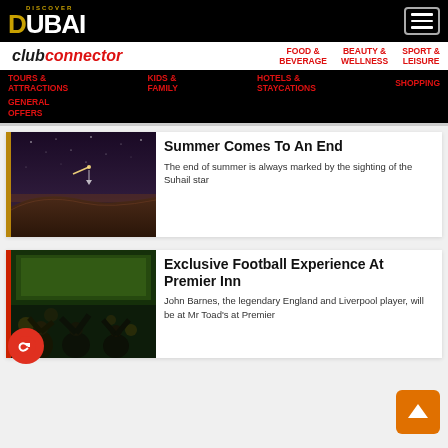DISCOVER DUBAI
club connector | FOOD & BEVERAGE | BEAUTY & WELLNESS | SPORT & LEISURE
TOURS & ATTRACTIONS | KIDS & FAMILY | HOTELS & STAYCATIONS | SHOPPING
GENERAL OFFERS
Summer Comes To An End
The end of summer is always marked by the sighting of the Suhail star
[Figure (photo): Night sky over a desert sand dune with a shooting star or comet visible]
Exclusive Football Experience At Premier Inn
John Barnes, the legendary England and Liverpool player, will be at Mr Toad's at Premier
[Figure (photo): People celebrating in a bar/pub watching football, arms raised in celebration]